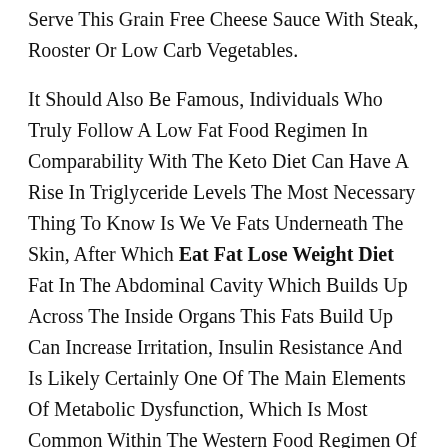Serve This Grain Free Cheese Sauce With Steak, Rooster Or Low Carb Vegetables.
It Should Also Be Famous, Individuals Who Truly Follow A Low Fat Food Regimen In Comparability With The Keto Diet Can Have A Rise In Triglyceride Levels The Most Necessary Thing To Know Is We Ve Fats Underneath The Skin, After Which Eat Fat Lose Weight Diet Fat In The Abdominal Cavity Which Builds Up Across The Inside Organs This Fats Build Up Can Increase Irritation, Insulin Resistance And Is Likely Certainly One Of The Main Elements Of Metabolic Dysfunction, Which Is Most Common Within The Western Food Regimen Of Today Luckily, The Keto Food Eat Fat Lose Weight Diet Regimen Is Super Efficient At Reducing These Internal Body Fats First, This Helps To Reduce The Chance Of Coronary Heart